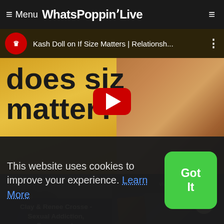≡ Menu WhatsPoppinLive
[Figure (screenshot): YouTube video thumbnail for 'Kash Doll on If Size Matters | Relationsh...' showing a woman in pink outfit with text 'does size matter?' on a yellow/gold background with red YouTube play button]
[Figure (photo): Dark silhouette image for 'Clay & Renee Crosse - Sexual Addiction, Pornograph' article card]
[Figure (photo): Dark photo of guitar and heart-shaped tag for related article]
This website uses cookies to improve your experience. Learn More
Got It